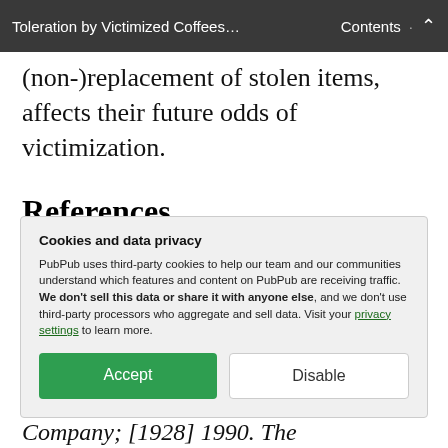Toleration by Victimized Coffees... · Contents
(non-)replacement of stolen items, affects their future odds of victimization.
References
Anderson, Elijah. 1999. Code of the street: Decency, violence, and the moral life of the inner city. New York: W.W. Norton &
Cookies and data privacy
PubPub uses third-party cookies to help our team and our communities understand which features and content on PubPub are receiving traffic. We don't sell this data or share it with anyone else, and we don't use third-party processors who aggregate and sell data. Visit your privacy settings to learn more.
[Accept] [Disable]
Company; [1928] 1990. The